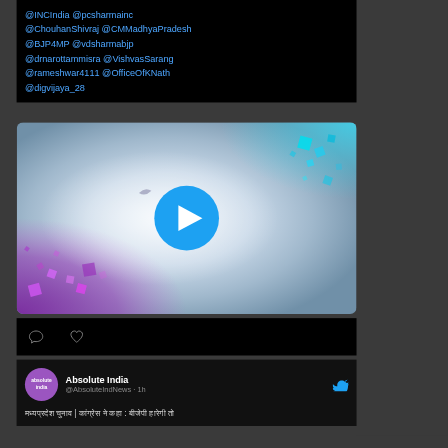@INCIndia @pcsharmainc @ChouhanShivraj @CMMadhyaPradesh @BJP4MP @vdsharmabjp @drnarottammisra @VishvasSarang @rameshwar4111 @OfficeOfKNath @digvijaya_28
[Figure (screenshot): Video thumbnail with play button - abstract background with purple sparkles bottom-left and cyan sparkles top-right, blue play button in center]
[Figure (other): Comment and heart/like icons action bar]
Absolute India @AbsoluteIndNews · 1h
Hindi text content (Devanagari script)